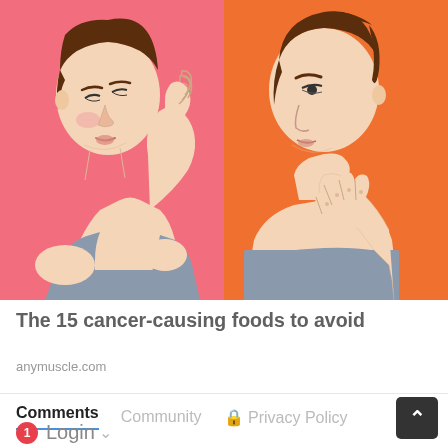[Figure (illustration): Two-panel illustration: left panel shows a woman with pink background holding her head/face in distress; right panel shows a woman with orange background holding her chest in discomfort.]
The 15 cancer-causing foods to avoid
anymuscle.com
Comments   Community   Privacy Policy   Login